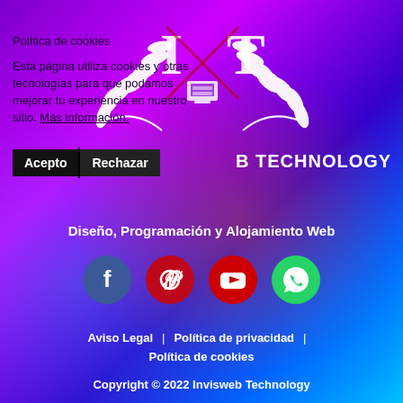[Figure (logo): Invisweb Technology logo with laurel wreaths, letters I and T, and a computer/server icon in white on purple gradient background]
Política de cookies
Esta página utiliza cookies y otras tecnologías para que podamos mejorar tu experiencia en nuestro sitio. Más información.
Acepto | Rechazar
B TECHNOLOGY
Diseño, Programación y Alojamiento Web
[Figure (illustration): Social media icons row: Facebook (dark blue circle), Pinterest (red circle), YouTube (red circle), WhatsApp (green circle)]
Aviso Legal | Política de privacidad | Política de cookies
Copyright © 2022 Invisweb Technology